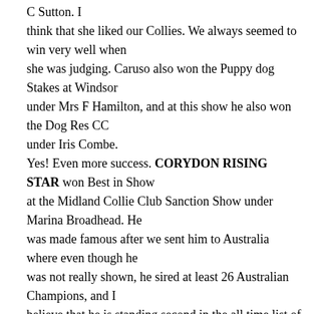C Sutton. I think that she liked our Collies. We always seemed to win very well when she was judging. Caruso also won the Puppy dog Stakes at Windsor under Mrs F Hamilton, and at this show he also won the Dog Res CC under Iris Combe. Yes! Even more success. CORYDON RISING STAR won Best in Show at the Midland Collie Club Sanction Show under Marina Broadhead. He was made famous after we sent him to Australia where even though he was not really shown, he sired at least 26 Australian Champions, and I believe that he is standing second in the all time list of sires. This show was also memorable for me as we took CORYDON